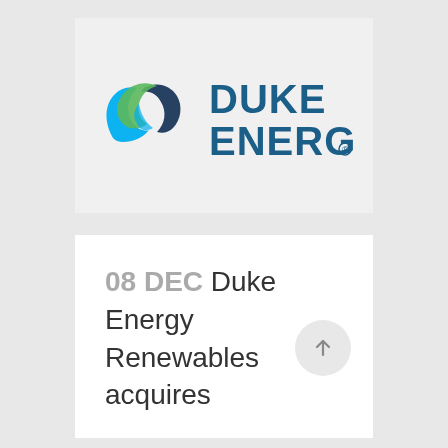[Figure (logo): Duke Energy logo with swirling ribbon icon in cyan, dark blue and green, followed by 'DUKE ENERGY.' text in dark teal blue]
08 DEC Duke Energy Renewables acquires